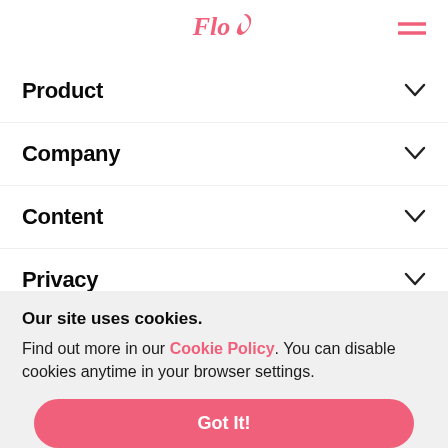Flo
Product
Company
Content
Privacy
Medicine & Science
Our site uses cookies.
Find out more in our Cookie Policy. You can disable cookies anytime in your browser settings.
Got It!